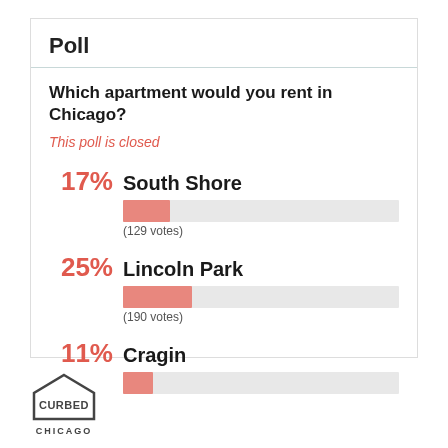Poll
Which apartment would you rent in Chicago?
This poll is closed
[Figure (bar-chart): Poll: Which apartment would you rent in Chicago?]
[Figure (logo): Curbed Chicago logo — house icon outline with 'CURBED' text inside and 'CHICAGO' below]